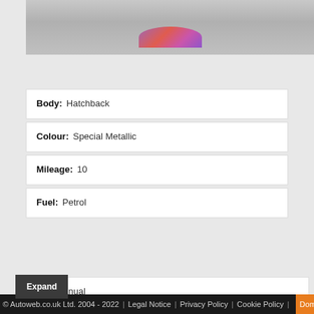[Figure (photo): Partial view of a car (top image cropped), showing colorful paint detail — purple/red/pink hues — on a gray background.]
| Body: | Hatchback |
| Colour: | Special Metallic |
| Mileage: | 10 |
| Fuel: | Petrol |
| Gearbox: | Manual |
© Autoweb.co.uk Ltd. 2004 - 2022 | Legal Notice | Privacy Policy | Cookie Policy | Dom...